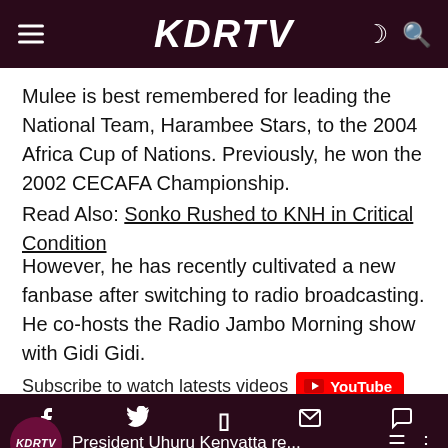KDRTV
Mulee is best remembered for leading the National Team, Harambee Stars, to the 2004 Africa Cup of Nations. Previously, he won the 2002 CECAFA Championship.
Read Also: Sonko Rushed to KNH in Critical Condition
However, he has recently cultivated a new fanbase after switching to radio broadcasting. He co-hosts the Radio Jambo Morning show with Gidi Gidi.
Subscribe to watch latests videos
[Figure (screenshot): YouTube video thumbnail showing KDRTV logo and title 'President Uhuru Kenyatta re...']
Social share icons: Facebook, Twitter, Flipboard, Email, Comment